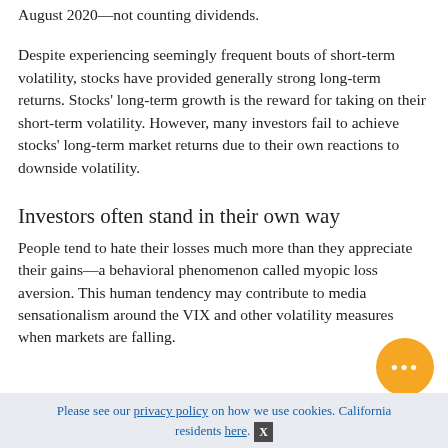August 2020—not counting dividends.
Despite experiencing seemingly frequent bouts of short-term volatility, stocks have provided generally strong long-term returns. Stocks' long-term growth is the reward for taking on their short-term volatility. However, many investors fail to achieve stocks' long-term market returns due to their own reactions to downside volatility.
Investors often stand in their own way
People tend to hate their losses much more than they appreciate their gains—a behavioral phenomenon called myopic loss aversion. This human tendency may contribute to media sensationalism around the VIX and other volatility measures when markets are falling.
Please see our privacy policy on how we use cookies. California residents here.